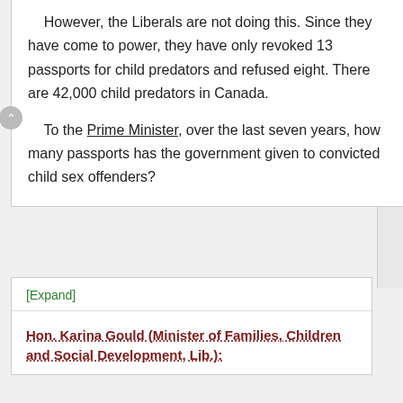However, the Liberals are not doing this. Since they have come to power, they have only revoked 13 passports for child predators and refused eight. There are 42,000 child predators in Canada.
To the Prime Minister, over the last seven years, how many passports has the government given to convicted child sex offenders?
[Expand]
Hon. Karina Gould (Minister of Families, Children and Social Development, Lib.):